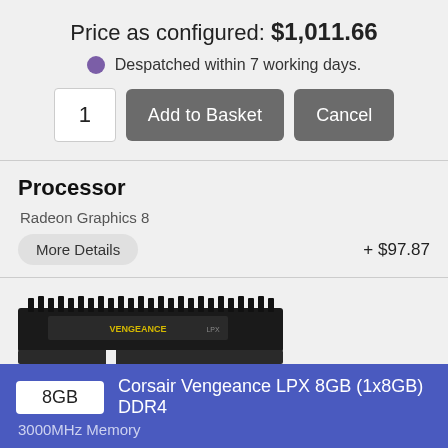Price as configured: $1,011.66
Despatched within 7 working days.
1  Add to Basket  Cancel
Processor
Radeon Graphics 8
More Details   + $97.87
[Figure (photo): Corsair Vengeance LPX RAM stick, black with yellow label]
Memory
8GB  Corsair Vengeance LPX 8GB (1x8GB) DDR4
3000MHz Memory